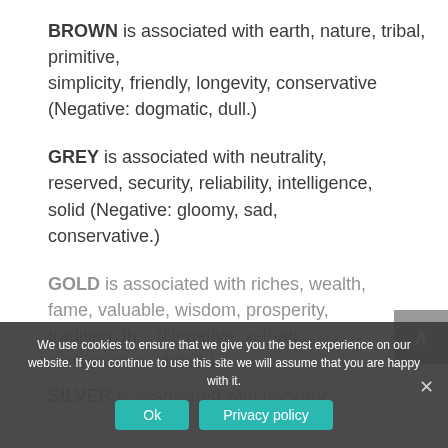BROWN is associated with earth, nature, tribal, primitive, simplicity, friendly, longevity, conservative (Negative: dogmatic, dull.)
GREY is associated with neutrality, reserved, security, reliability, intelligence, solid (Negative: gloomy, sad, conservative.)
GOLD is associated with riches, wealth, fame, valuable, wisdom, prosperity, tradition, th... (Negative: self-absorbed, conservative, dated.)
SILVER is associated with mystery...